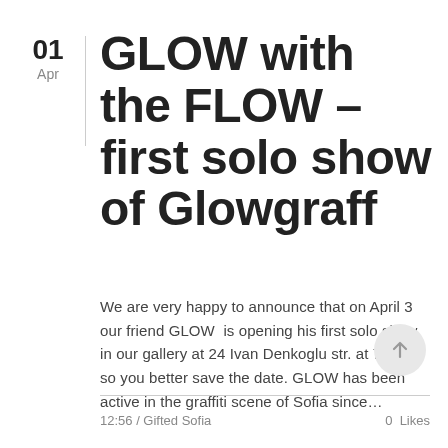01
Apr
GLOW with the FLOW – first solo show of Glowgraff
We are very happy to announce that on April 3 our friend GLOW  is opening his first solo show in our gallery at 24 Ivan Denkoglu str. at 7 PM, so you better save the date. GLOW has been active in the graffiti scene of Sofia since…
12:56 / Gifted Sofia    0  Likes